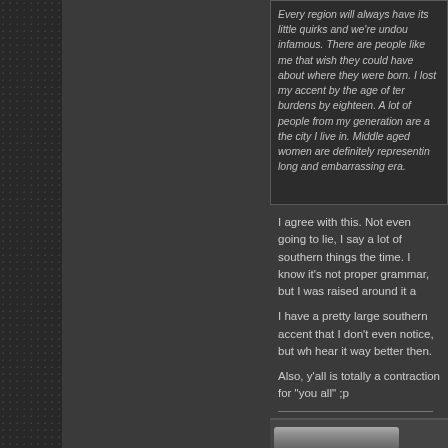Every region will always have its little quirks and we're undoubtedly infamous. There are people like me that wish they could have about where they were born. I lost my accent by the age of ten burdens by eighteen. A lot of people from my generation are a the city I live in. Middle aged women are definitely representing long and embarrassing era.
I agree with this. Not even going to lie, I say a lot of southern things the time. I know it's not proper grammar, but I was raised around it a
I have a pretty large southern accent that I don't even notice, but wh hear it way better then.
Also, y'all is totally a contraction for "you all" ;p
Drywall
06-02-2010, 01:03 PM
CO3
Wordy Wordy Wordpants!
Quote:
Originally Posted by aaaaa